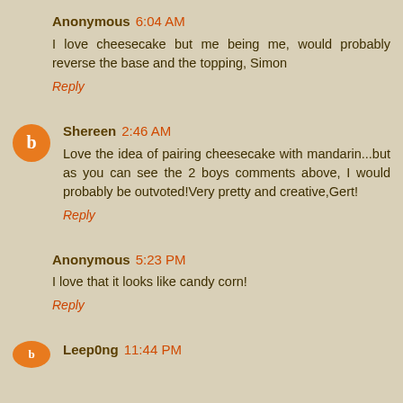Anonymous 6:04 AM
I love cheesecake but me being me, would probably reverse the base and the topping, Simon
Reply
Shereen 2:46 AM
Love the idea of pairing cheesecake with mandarin...but as you can see the 2 boys comments above, I would probably be outvoted!Very pretty and creative,Gert!
Reply
Anonymous 5:23 PM
I love that it looks like candy corn!
Reply
Leep0ng 11:44 PM